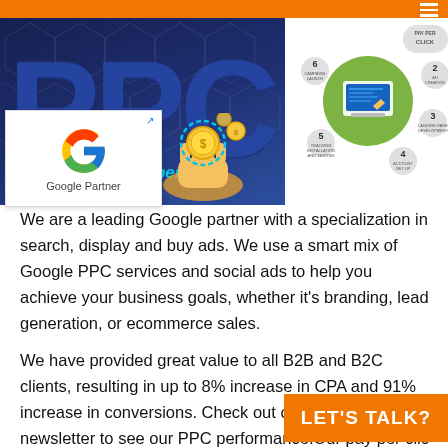[Figure (infographic): PPC marketing banner with large dark blue PPC letters on left, hand holding coins illustration, and Pay Per Click process diagram (numbered steps 1-6 in flower/circle pattern) on right]
[Figure (logo): Google Partner badge with Google G logo and text 'Google Partner']
We are a leading Google partner with a specialization in search, display and buy ads. We use a smart mix of Google PPC services and social ads to help you achieve your business goals, whether it's branding, lead generation, or ecommerce sales.
We have provided great value to all B2B and B2C clients, resulting in up to 8% increase in CPA and 91% increase in conversions. Check out our digital newsletter to see our PPC performance.Our pay per clic
[Figure (other): LET'S TALK? orange button]